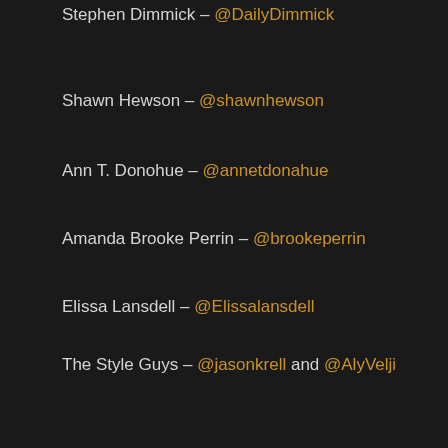Stephen Dimmick – @DailyDimmick
Shawn Hewson – @shawnhewson
Ann T. Donohue – @annetdonahue
Amanda Brooke Perrin – @brookeperrin
Elissa Lansdell – @Elissalansdell
The Style Guys – @jasonkrell and @AlyVelji
Ania B. – @ania_boniecka
About E!
E! is television's top global destination for all things pop culture,